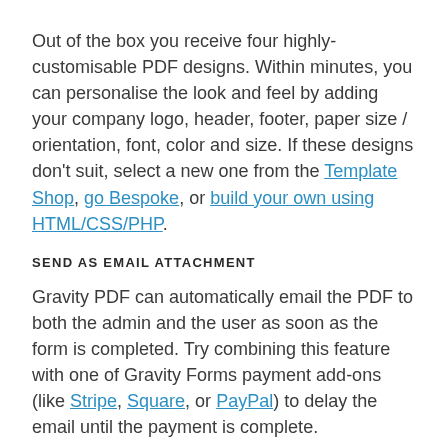Out of the box you receive four highly-customisable PDF designs. Within minutes, you can personalise the look and feel by adding your company logo, header, footer, paper size / orientation, font, color and size. If these designs don't suit, select a new one from the Template Shop, go Bespoke, or build your own using HTML/CSS/PHP.
SEND AS EMAIL ATTACHMENT
Gravity PDF can automatically email the PDF to both the admin and the user as soon as the form is completed. Try combining this feature with one of Gravity Forms payment add-ons (like Stripe, Square, or PayPal) to delay the email until the payment is complete.
PRIVACY, SECURITY, AND GDPR